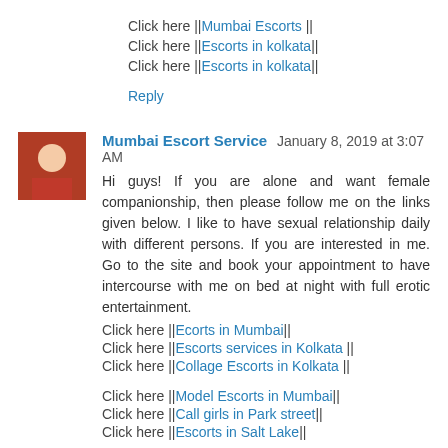Click here ||Mumbai Escorts ||
Click here ||Escorts in kolkata||
Click here ||Escorts in kolkata||
Reply
Mumbai Escort Service  January 8, 2019 at 3:07 AM
Hi guys! If you are alone and want female companionship, then please follow me on the links given below. I like to have sexual relationship daily with different persons. If you are interested in me. Go to the site and book your appointment to have intercourse with me on bed at night with full erotic entertainment.
Click here ||Ecorts in Mumbai||
Click here ||Escorts services in Kolkata ||
Click here ||Collage Escorts in Kolkata ||
Click here ||Model Escorts in Mumbai||
Click here ||Call girls in Park street||
Click here ||Escorts in Salt Lake||